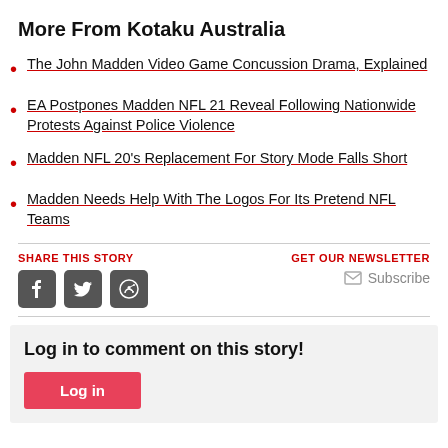More From Kotaku Australia
The John Madden Video Game Concussion Drama, Explained
EA Postpones Madden NFL 21 Reveal Following Nationwide Protests Against Police Violence
Madden NFL 20's Replacement For Story Mode Falls Short
Madden Needs Help With The Logos For Its Pretend NFL Teams
SHARE THIS STORY
GET OUR NEWSLETTER
Subscribe
Log in to comment on this story!
Log in